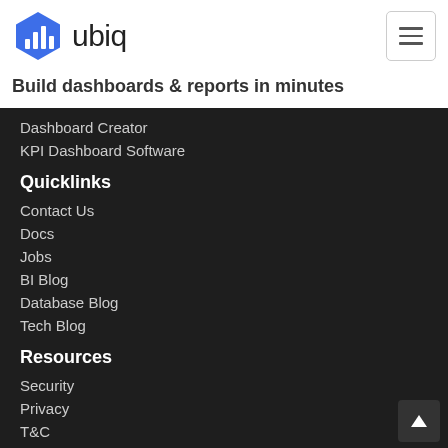[Figure (logo): Ubiq logo: blue hexagon with white bar chart icon and 'ubiq' text in dark gray]
Build dashboards & reports in minutes
Dashboard Creator
KPI Dashboard Software
Quicklinks
Contact Us
Docs
Jobs
BI Blog
Database Blog
Tech Blog
Resources
Security
Privacy
T&C
Sitemap
[Figure (other): Social media icons: Facebook, Twitter, LinkedIn]